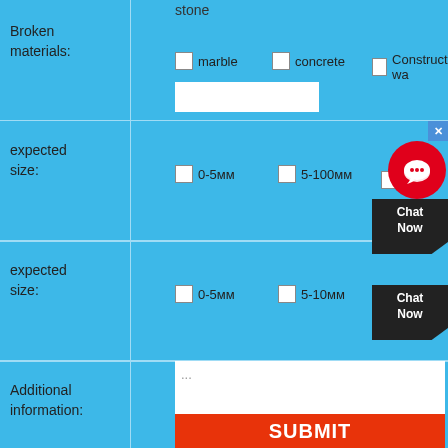stone
Broken materials:
marble
concrete
Construction wa...
expected size:
0-5мм
5-100мм
100-300м...
expected size:
0-5мм
5-10мм
10-20мм
Additional information:
...
SUBMIT